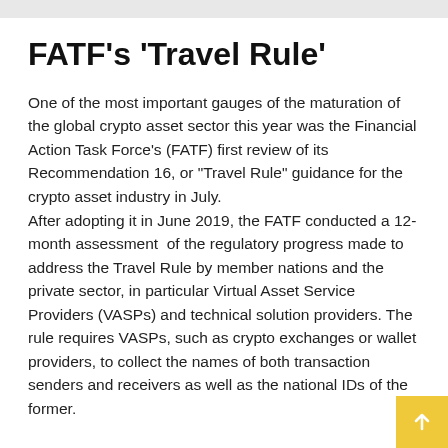FATF’s ‘Travel Rule’
One of the most important gauges of the maturation of the global crypto asset sector this year was the Financial Action Task Force's (FATF) first review of its Recommendation 16, or “Travel Rule” guidance for the crypto asset industry in July. After adopting it in June 2019, the FATF conducted a 12-month assessment  of the regulatory progress made to address the Travel Rule by member nations and the private sector, in particular Virtual Asset Service Providers (VASPs) and technical solution providers. The rule requires VASPs, such as crypto exchanges or wallet providers, to collect the names of both transaction senders and receivers as well as the national IDs of the former.